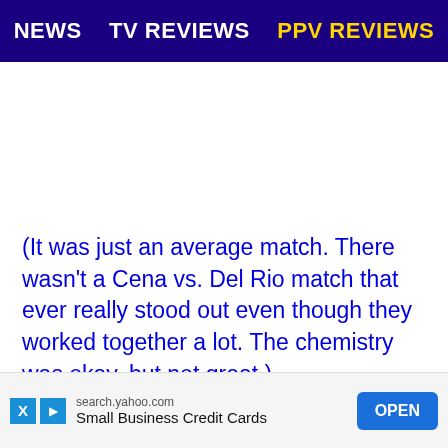NEWS | TV REVIEWS | PPV REVIEWS
(It was just an average match. There wasn't a Cena vs. Del Rio match that ever really stood out even though they worked together a lot. The chemistry was okay, but not great.)
The guest host on Raw is Michael Strahan.
Backstage, Santino Marella and R-Truth were playing with WWE Power Slammers. Leo Matadore showed up with Laurina...
[Figure (other): Advertisement banner: search.yahoo.com Small Business Credit Cards with OPEN button]